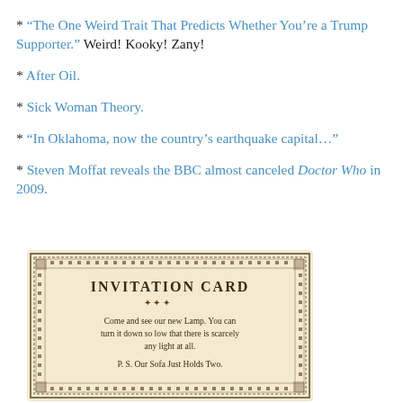* “The One Weird Trait That Predicts Whether You’re a Trump Supporter.” Weird! Kooky! Zany!
* After Oil.
* Sick Woman Theory.
* “In Oklahoma, now the country’s earthquake capital…”
* Steven Moffat reveals the BBC almost canceled Doctor Who in 2009.
[Figure (photo): Vintage invitation card with decorative border reading: INVITATION CARD. Come and see our new Lamp. You can turn it down so low that there is scarcely any light at all. P. S. Our Sofa Just Holds Two.]